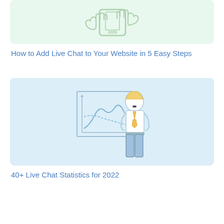[Figure (illustration): Hands holding and tapping a smartphone, outline illustration on light green background]
How to Add Live Chat to Your Website in 5 Easy Steps
[Figure (illustration): Cartoon businessman in blue pants and yellow tie standing next to a chart/graph board, illustration on light blue background]
40+ Live Chat Statistics for 2022